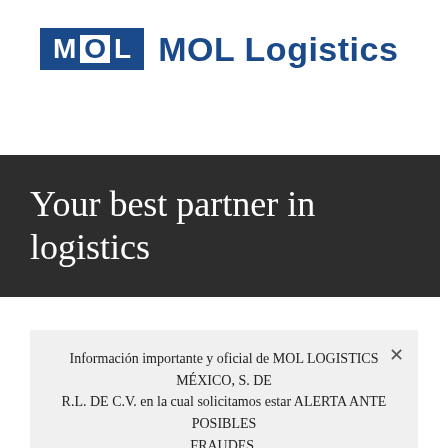[Figure (logo): MOL Logistics logo: blue box with letters M, O, L (O has white background), followed by 'MOL Logistics' text in blue]
Your best partner in logistics
Información importante y oficial de MOL LOGISTICS MÉXICO, S. DE R.L. DE C.V. en la cual solicitamos estar ALERTA ANTE POSIBLES FRAUDES.
Leer más ...